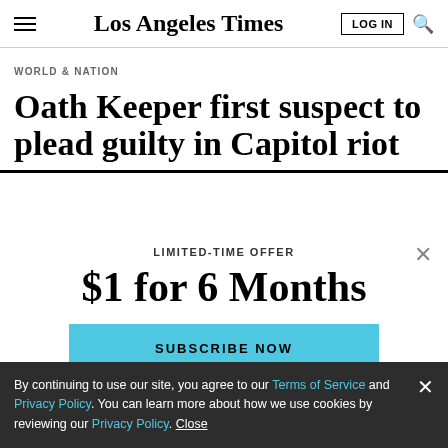Los Angeles Times
WORLD & NATION
Oath Keeper first suspect to plead guilty in Capitol riot
LIMITED-TIME OFFER
$1 for 6 Months
SUBSCRIBE NOW
By continuing to use our site, you agree to our Terms of Service and Privacy Policy. You can learn more about how we use cookies by reviewing our Privacy Policy. Close